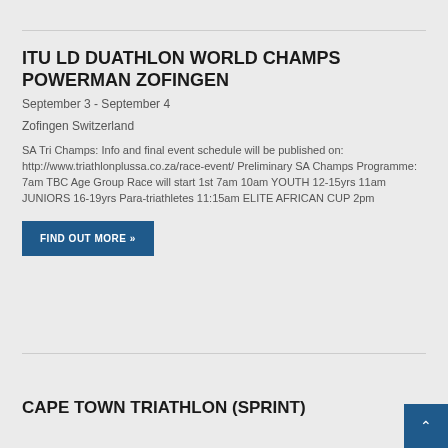ITU LD DUATHLON WORLD CHAMPS POWERMAN ZOFINGEN
September 3 - September 4
Zofingen Switzerland
SA Tri Champs: Info and final event schedule will be published on: http://www.triathlonplussa.co.za/race-event/ Preliminary SA Champs Programme: 7am TBC Age Group Race will start 1st 7am 10am YOUTH 12-15yrs 11am JUNIORS 16-19yrs Para-triathletes 11:15am ELITE AFRICAN CUP 2pm
FIND OUT MORE »
CAPE TOWN TRIATHLON (SPRINT)